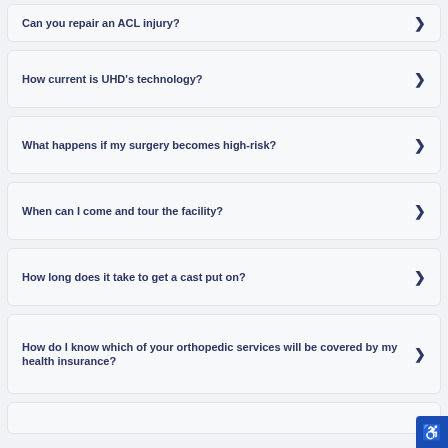Can you repair an ACL injury?
How current is UHD's technology?
What happens if my surgery becomes high-risk?
When can I come and tour the facility?
How long does it take to get a cast put on?
How do I know which of your orthopedic services will be covered by my health insurance?
(partial item at bottom)